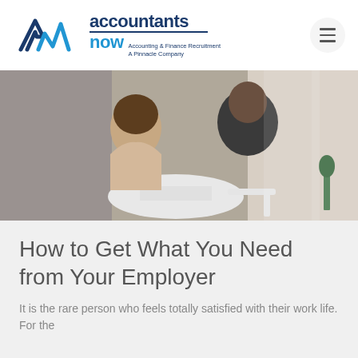[Figure (logo): Accountants Now logo — stylized N chevron in dark blue and light blue with text 'accountants now — Accounting & Finance Recruitment, A Pinnacle Company']
[Figure (photo): Two people sitting across a round white table in an office setting, one facing the camera smiling and gesturing, the other with their back to the camera]
How to Get What You Need from Your Employer
It is the rare person who feels totally satisfied with their work life. For the...